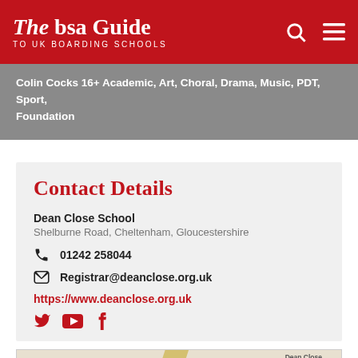The bsa Guide TO UK BOARDING SCHOOLS
Colin Cocks 16+ Academic, Art, Choral, Drama, Music, PDT, Sport, Foundation
Contact Details
Dean Close School
Shelburne Road, Cheltenham, Gloucestershire
01242 258044
Registrar@deanclose.org.uk
https://www.deanclose.org.uk
[Figure (map): Map showing Dean Close School location near Premier Inn Cheltenham Central (West/A40) and Dean Close Preparatory School, with A40 road visible.]